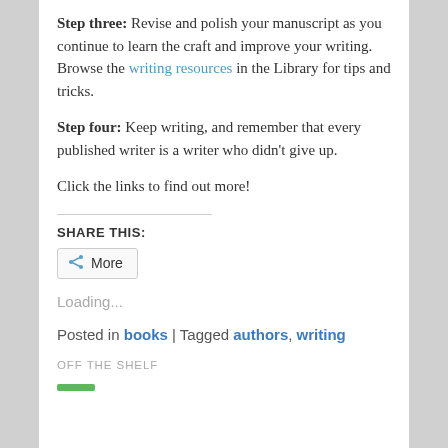Step three: Revise and polish your manuscript as you continue to learn the craft and improve your writing. Browse the writing resources in the Library for tips and tricks.
Step four: Keep writing, and remember that every published writer is a writer who didn't give up.
Click the links to find out more!
SHARE THIS:
More
Loading...
Posted in books | Tagged authors, writing
OFF THE SHELF